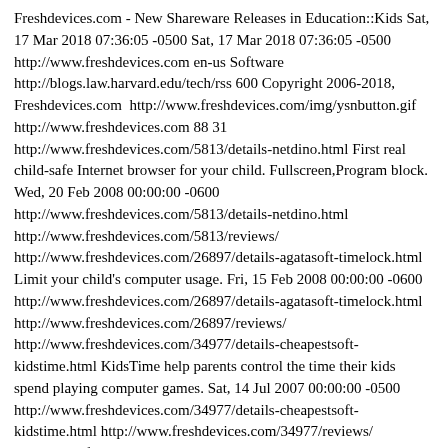Freshdevices.com - New Shareware Releases in Education::Kids Sat, 17 Mar 2018 07:36:05 -0500 Sat, 17 Mar 2018 07:36:05 -0500 http://www.freshdevices.com en-us Software http://blogs.law.harvard.edu/tech/rss 600 Copyright 2006-2018, Freshdevices.com  http://www.freshdevices.com/img/ysnbutton.gif http://www.freshdevices.com 88 31 http://www.freshdevices.com/5813/details-netdino.html First real child-safe Internet browser for your child. Fullscreen,Program block. Wed, 20 Feb 2008 00:00:00 -0600 http://www.freshdevices.com/5813/details-netdino.html http://www.freshdevices.com/5813/reviews/ http://www.freshdevices.com/26897/details-agatasoft-timelock.html Limit your child's computer usage. Fri, 15 Feb 2008 00:00:00 -0600 http://www.freshdevices.com/26897/details-agatasoft-timelock.html http://www.freshdevices.com/26897/reviews/ http://www.freshdevices.com/34977/details-cheapestsoft-kidstime.html KidsTime help parents control the time their kids spend playing computer games. Sat, 14 Jul 2007 00:00:00 -0500 http://www.freshdevices.com/34977/details-cheapestsoft-kidstime.html http://www.freshdevices.com/34977/reviews/ http://www.freshdevices.com/34951/details-smart-kid-learning-addition.html Smart Kid ? Learning Addition educational and self-esteen building software. Sat, 07 Jul 2007 00:00:00 -0500 http://www.freshdevices.com/34951/details-smart-kid-learning-